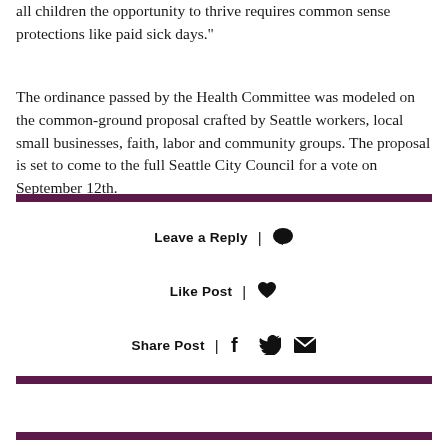all children the opportunity to thrive requires common sense protections like paid sick days."
The ordinance passed by the Health Committee was modeled on the common-ground proposal crafted by Seattle workers, local small businesses, faith, labor and community groups. The proposal is set to come to the full Seattle City Council for a vote on September 12th.
Leave a Reply
Like Post
Share Post